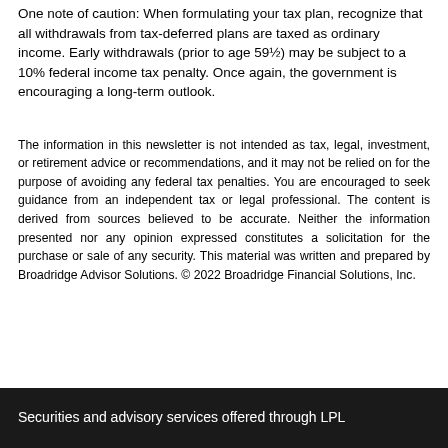One note of caution: When formulating your tax plan, recognize that all withdrawals from tax-deferred plans are taxed as ordinary income. Early withdrawals (prior to age 59½) may be subject to a 10% federal income tax penalty. Once again, the government is encouraging a long-term outlook.
The information in this newsletter is not intended as tax, legal, investment, or retirement advice or recommendations, and it may not be relied on for the purpose of avoiding any federal tax penalties. You are encouraged to seek guidance from an independent tax or legal professional. The content is derived from sources believed to be accurate. Neither the information presented nor any opinion expressed constitutes a solicitation for the purchase or sale of any security. This material was written and prepared by Broadridge Advisor Solutions. © 2022 Broadridge Financial Solutions, Inc.
Securities and advisory services offered through LPL